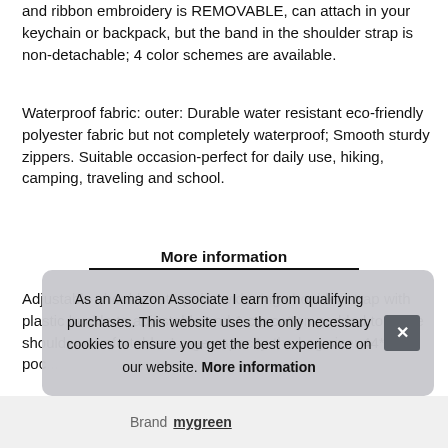and ribbon embroidery is REMOVABLE, can attach in your keychain or backpack, but the band in the shoulder strap is non-detachable; 4 color schemes are available.
Waterproof fabric: outer: Durable water resistant eco-friendly polyester fabric but not completely waterproof; Smooth sturdy zippers. Suitable occasion-perfect for daily use, hiking, camping, traveling and school.
More information
Adjustable shoulder strap-the widening shoulder strap with plastic buckle to adjustable and 1 cm cotton padded to make shoulder comfortable. Large capacity-the bag size: 44*3... poc...
As an Amazon Associate I earn from qualifying purchases. This website uses the only necessary cookies to ensure you get the best experience on our website. More information
| Brand |  |
| --- | --- |
| Brand | mygreen |